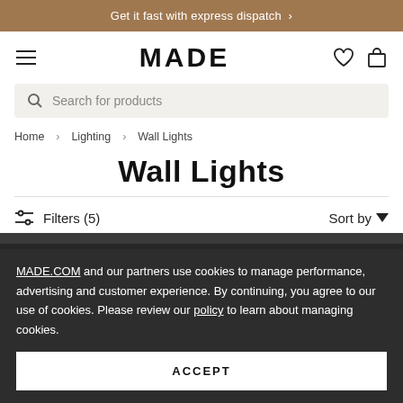Get it fast with express dispatch >
MADE
Search for products
Home > Lighting > Wall Lights
Wall Lights
Filters (5)   Sort by
MADE.COM and our partners use cookies to manage performance, advertising and customer experience. By continuing, you agree to our use of cookies. Please review our policy to learn about managing cookies.
ACCEPT